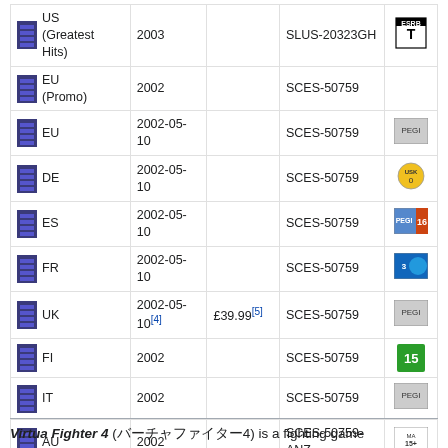| Region | Date | Price | Serial | Rating |
| --- | --- | --- | --- | --- |
| US (Greatest Hits) | 2003 |  | SLUS-20323GH | [ESRB T] |
| EU (Promo) | 2002 |  | SCES-50759 |  |
| EU | 2002-05-10 |  | SCES-50759 | [PEGI] |
| DE | 2002-05-10 |  | SCES-50759 | [USK] |
| ES | 2002-05-10 |  | SCES-50759 | [PEGI 16] |
| FR | 2002-05-10 |  | SCES-50759 | [PEGI] |
| UK | 2002-05-10[4] | £39.99[5] | SCES-50759 | [PEGI] |
| FI | 2002 |  | SCES-50759 | 15 |
| IT | 2002 |  | SCES-50759 | [PEGI] |
| AU | 2002 |  | SCES-50759-ANZ | [MA15+] |
Virtua Fighter 4 (バーチャファイター4) is a fighting game